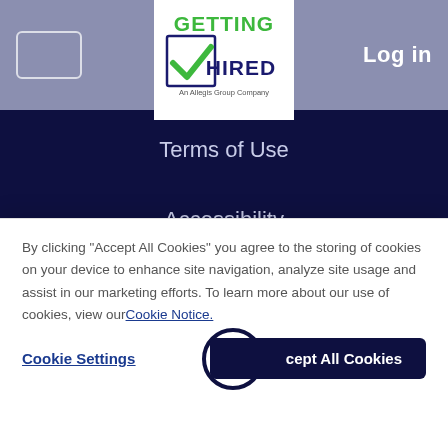[Figure (logo): Getting Hired logo - An Allegis Group Company, green and dark text with checkmark]
Log in
Terms of Use
Accessibility
Cookie Notice
COMMUNITY
[Figure (illustration): Social media icons row: LinkedIn, Facebook, Twitter - white circle outlines]
By clicking “Accept All Cookies” you agree to the storing of cookies on your device to enhance site navigation, analyze site usage and assist in our marketing efforts. To learn more about our use of cookies, view our Cookie Notice.
Cookie Settings
Accept All Cookies